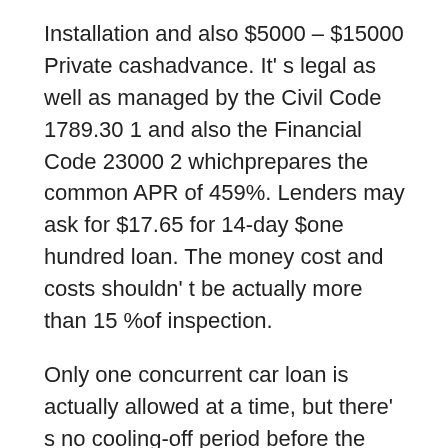Installation and also $5000 – $15000 Private cashadvance. It' s legal as well as managed by the Civil Code 1789.30 1 and also the Financial Code 23000 2 whichprepares the common APR of 459%. Lenders may ask for $17.65 for 14-day $one hundred loan. The money cost and costs shouldn' t be actually more than 15 %of inspection.
Only one concurrent car loan is actually allowed at a time, but there' s no cooling-off period before the following one. Rollovers are actually forbidden, monthly payment planning is actually voluntary yet on healthcondition that no extra fees are actually charged. If you may' t repay the cashthere certainly ' s$ 15 non-sufficient-fund fee. Any type of unlawful activities versus debtors are prohibited.